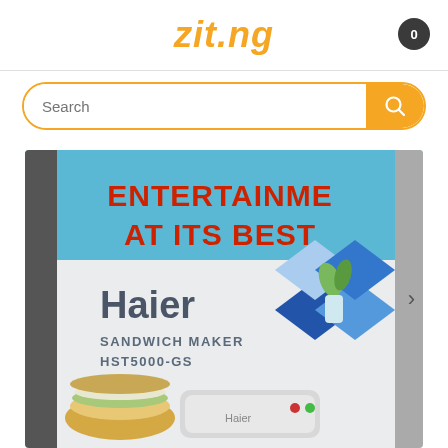zit.ng
Search
[Figure (photo): Product photo showing Haier Sandwich Maker HST5000-GS box. The box shows the text 'ENTERTAINMENT AT ITS BEST' in red on a blue background, and 'Haier SANDWICH MAKER HST5000-GS' on the white portion of the box. A sandwich image and the Haier logo diamond are also visible on the box.]